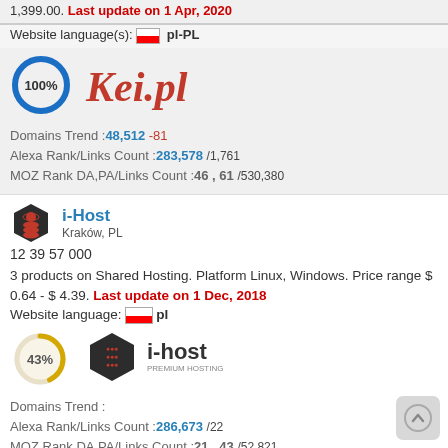1,399.00. Last update on 1 Apr, 2020
Website language(s): pl-PL
[Figure (infographic): 100% donut/circle progress indicator in blue]
[Figure (logo): Kei.pl logo in red italic text]
Domains Trend :48,512 -81
Alexa Rank/Links Count :283,578 /1,761
MOZ Rank DA,PA/Links Count :46 , 61 /530,380
[Figure (logo): i-Host dark hexagon icon logo]
i-Host
Kraków, PL
12 39 57 000
3 products on Shared Hosting. Platform Linux, Windows. Price range $ 0.64 - $ 4.39. Last update on 1 Dec, 2018 Website language: pl
[Figure (infographic): 43% donut/circle progress indicator in gold/yellow]
[Figure (logo): i-host premium hosting logo with red hexagon icon]
Domains Trend :
Alexa Rank/Links Count :286,673 /22
MOZ Rank DA,PA/Links Count :21 , 43 /52,821
Net Mark